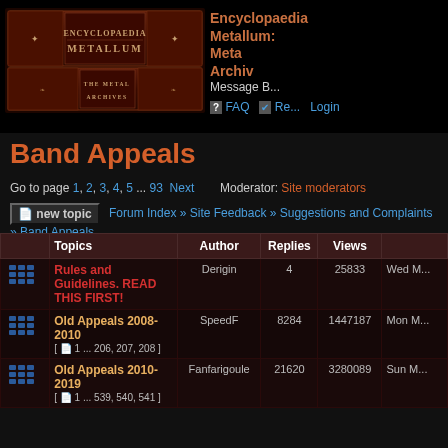[Figure (logo): Encyclopaedia Metallum: The Metal Archives logo — ornate dark red book-style banner]
Encyclopaedia Metallum: Metal Archives
Message Board
FAQ  Register  Login
Band Appeals
Go to page 1, 2, 3, 4, 5 ... 93  Next
Moderator: Site moderators
new topic  Forum Index » Site Feedback » Suggestions and Complaints » Band Appeals
|  | Topics | Author | Replies | Views |  |
| --- | --- | --- | --- | --- | --- |
| [icon] | Rules and Guidelines. READ THIS FIRST! | Derigin | 4 | 25833 | Wed M... |
| [icon] | Old Appeals 2008-2010 [ 1 ... 206, 207, 208 ] | SpeedF | 8284 | 1447187 | Mon M... |
| [icon] | Old Appeals 2010-2019 [ 1 ... 539, 540, 541 ] | Fanfarigoule | 21620 | 3280089 | Sun M... |